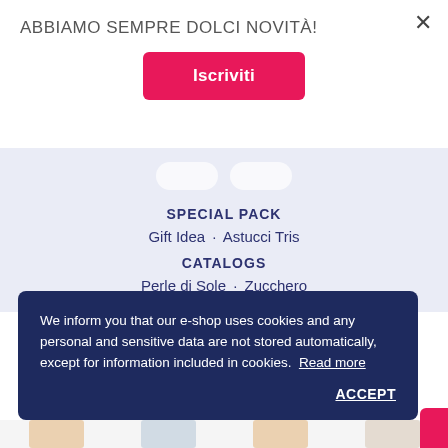ABBIAMO SEMPRE DOLCI NOVITÀ!
Iscriviti
SPECIAL PACK
Gift Idea · Astucci Tris
CATALOGS
Perle di Sole · Zucchero
We inform you that our e-shop uses cookies and any personal and sensitive data are not stored automatically, except for information included in cookies.  Read more
ACCEPT